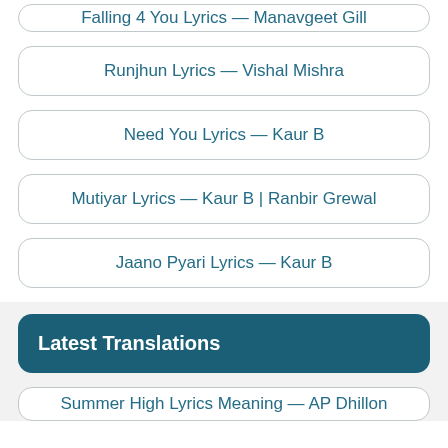Falling 4 You Lyrics — Manavgeet Gill
Runjhun Lyrics — Vishal Mishra
Need You Lyrics — Kaur B
Mutiyar Lyrics — Kaur B | Ranbir Grewal
Jaano Pyari Lyrics — Kaur B
Latest Translations
Summer High Lyrics Meaning — AP Dhillon